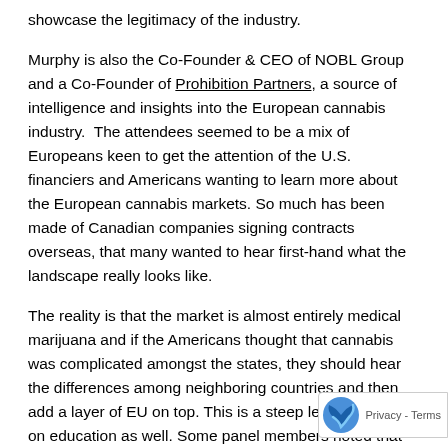showcase the legitimacy of the industry.
Murphy is also the Co-Founder & CEO of NOBL Group and a Co-Founder of Prohibition Partners, a source of intelligence and insights into the European cannabis industry.  The attendees seemed to be a mix of Europeans keen to get the attention of the U.S. financiers and Americans wanting to learn more about the European cannabis markets. So much has been made of Canadian companies signing contracts overseas, that many wanted to hear first-hand what the landscape really looks like.
The reality is that the market is almost entirely medical marijuana and if the Americans thought that cannabis was complicated amongst the states, they should hear the differences among neighboring countries and then add a layer of EU on top. This is a steep learning curve on education as well. Some panel members noted that many in the EU believe CBD (cannabidiol) will get them high and that educating the public will be critical to any success overseas.